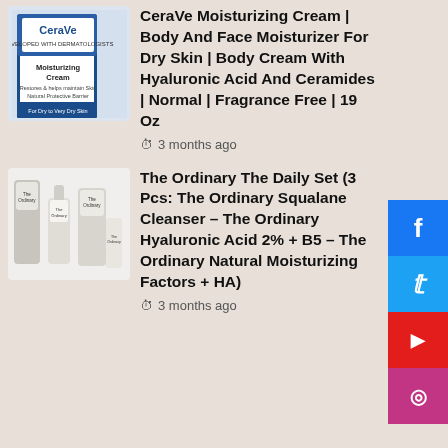[Figure (photo): CeraVe Moisturizing Cream product image showing blue and white container]
CeraVe Moisturizing Cream | Body And Face Moisturizer For Dry Skin | Body Cream With Hyaluronic Acid And Ceramides | Normal | Fragrance Free | 19 Oz
3 months ago
[Figure (photo): The Ordinary product set showing three minimalist white/grey bottles and tubes]
The Ordinary The Daily Set (3 Pcs: The Ordinary Squalane Cleanser – The Ordinary Hyaluronic Acid 2% + B5 – The Ordinary Natural Moisturizing Factors + HA)
3 months ago